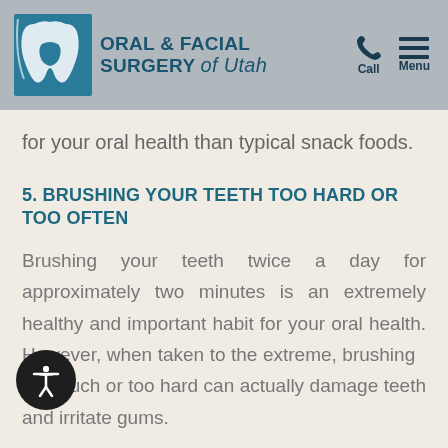ORAL & FACIAL SURGERY of Utah — Call | Menu
for your oral health than typical snack foods.
5. BRUSHING YOUR TEETH TOO HARD OR TOO OFTEN
Brushing your teeth twice a day for approximately two minutes is an extremely healthy and important habit for your oral health. However, when taken to the extreme, brushing too much or too hard can actually damage teeth and irritate gums.